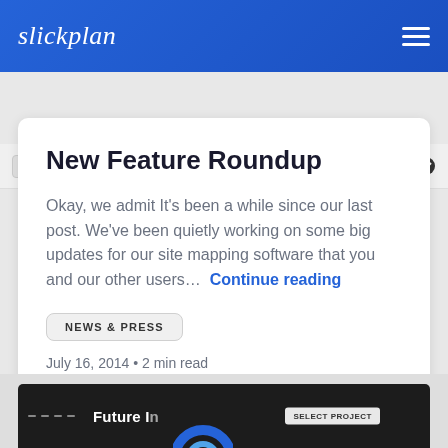slickplan
[Figure (screenshot): Slickplan web app toolbar strip showing WEB DESIGN tag and tool icons]
New Feature Roundup
Okay, we admit It's been a while since our last post. We've been quietly working on some big updates for our site mapping software that you and our other users...  Continue reading
NEWS & PRESS
July 16, 2014 • 2 min read
[Figure (screenshot): Bottom partial screenshot of Slickplan app with 'Future I...' title and circular logo graphic]